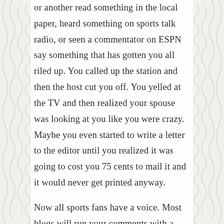or another read something in the local paper, heard something on sports talk radio, or seen a commentator on ESPN say something that has gotten you all riled up. You called up the station and then the host cut you off. You yelled at the TV and then realized your spouse was looking at you like you were crazy. Maybe you even started to write a letter to the editor until you realized it was going to cost you 75 cents to mail it and it would never get printed anyway.
Now all sports fans have a voice. Most blogs will run your comments with a pretty liberal moderation policy and other fans